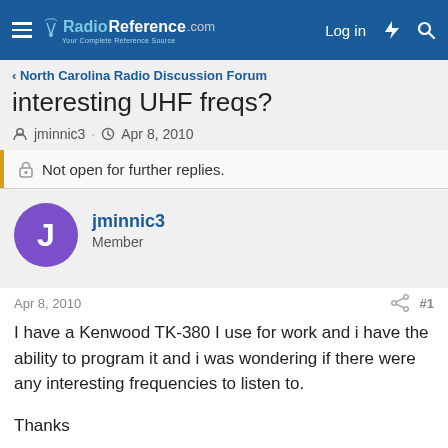RadioReference.com — Log in
< North Carolina Radio Discussion Forum
interesting UHF freqs?
jminnic3 · Apr 8, 2010
Not open for further replies.
jminnic3
Member
Apr 8, 2010  #1
I have a Kenwood TK-380 I use for work and i have the ability to program it and i was wondering if there were any interesting frequencies to listen to.

Thanks
Drafin